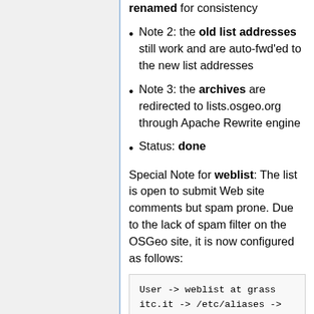renamed for consistency
Note 2: the old list addresses still work and are auto-fwd'ed to the new list addresses
Note 3: the archives are redirected to lists.osgeo.org through Apache Rewrite engine
Status: done
Special Note for weblist: The list is open to submit Web site comments but spam prone. Due to the lack of spam filter on the OSGeo site, it is now configured as follows:
User -> weblist at grass itc.it -> /etc/aliases ->
        ->
neteler.osgeo..gmail.com
(for Spam filtering) ->
FWD ->